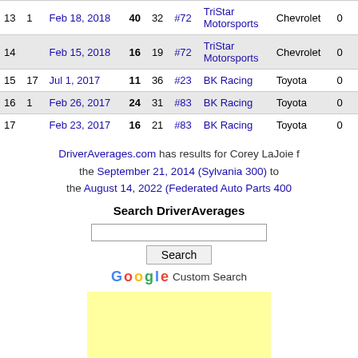| # |  | Date | St | Fi | Car | Team | Make | Pts |  |
| --- | --- | --- | --- | --- | --- | --- | --- | --- | --- |
| 13 | 1 | Feb 18, 2018 | 40 | 32 | #72 | TriStar Motorsports | Chevrolet | 0 |  |
| 14 |  | Feb 15, 2018 | 16 | 19 | #72 | TriStar Motorsports | Chevrolet | 0 |  |
| 15 | 17 | Jul 1, 2017 | 11 | 36 | #23 | BK Racing | Toyota | 0 |  |
| 16 | 1 | Feb 26, 2017 | 24 | 31 | #83 | BK Racing | Toyota | 0 |  |
| 17 |  | Feb 23, 2017 | 16 | 21 | #83 | BK Racing | Toyota | 0 |  |
DriverAverages.com has results for Corey LaJoie from the September 21, 2014 (Sylvania 300) to the August 14, 2022 (Federated Auto Parts 400)
Search DriverAverages
[Figure (other): Google Custom Search box with Search button and Google logo]
[Figure (other): Yellow advertisement box]